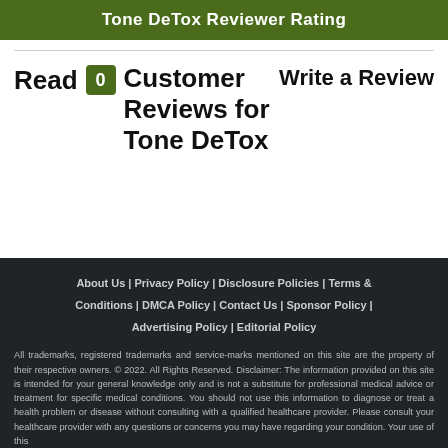Tone DeTox Reviewer Rating
Read 0 Customer Reviews for Tone DeTox   Write a Review
About Us | Privacy Policy | Disclosure Policies | Terms & Conditions | DMCA Policy | Contact Us | Sponsor Policy | Advertising Policy | Editorial Policy

All trademarks, registered trademarks and service-marks mentioned on this site are the property of their respective owners. © 2022. All Rights Reserved. Disclaimer: The information provided on this site is intended for your general knowledge only and is not a substitute for professional medical advice or treatment for specific medical conditions. You should not use this information to diagnose or treat a health problem or disease without consulting with a qualified healthcare provider. Please consult your healthcare provider with any questions or concerns you may have regarding your condition. Your use of this